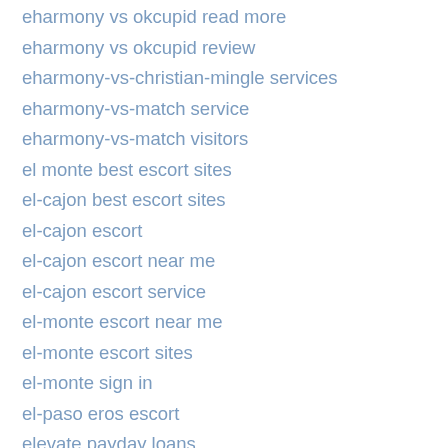eharmony vs okcupid read more
eharmony vs okcupid review
eharmony-vs-christian-mingle services
eharmony-vs-match service
eharmony-vs-match visitors
el monte best escort sites
el-cajon best escort sites
el-cajon escort
el-cajon escort near me
el-cajon escort service
el-monte escort near me
el-monte escort sites
el-monte sign in
el-paso eros escort
elevate payday loans
elgin escort radar
elgin find an escort
eliminate payday loans